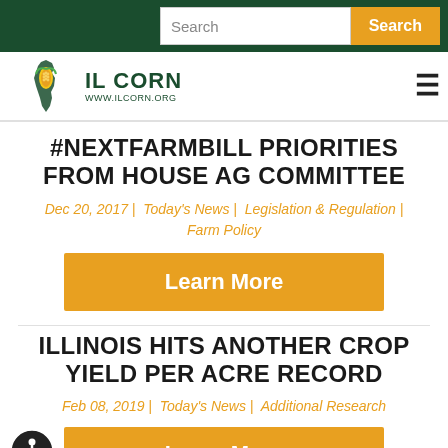Search | Search button
[Figure (logo): IL Corn logo with Illinois state outline and corn graphic, www.ilcorn.org]
#NEXTFARMBILL PRIORITIES FROM HOUSE AG COMMITTEE
Dec 20, 2017 | Today's News | Legislation & Regulation | Farm Policy
Learn More
ILLINOIS HITS ANOTHER CROP YIELD PER ACRE RECORD
Feb 08, 2019 | Today's News | Additional Research
Learn More